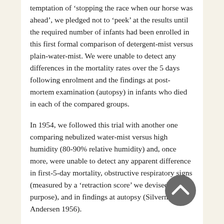temptation of 'stopping the race when our horse was ahead', we pledged not to 'peek' at the results until the required number of infants had been enrolled in this first formal comparison of detergent-mist versus plain-water-mist. We were unable to detect any differences in the mortality rates over the 5 days following enrolment and the findings at post-mortem examination (autopsy) in infants who died in each of the compared groups.
In 1954, we followed this trial with another one comparing nebulized water-mist versus high humidity (80-90% relative humidity) and, once more, were unable to detect any apparent difference in first-5-day mortality, obstructive respiratory signs (measured by a 'retraction score' we devised for this purpose), and in findings at autopsy (Silverman and Andersen 1956).
Finally, at the end of 1954, we undertook the third (in what we thought would be the last) in the series of fi rst-day administ...